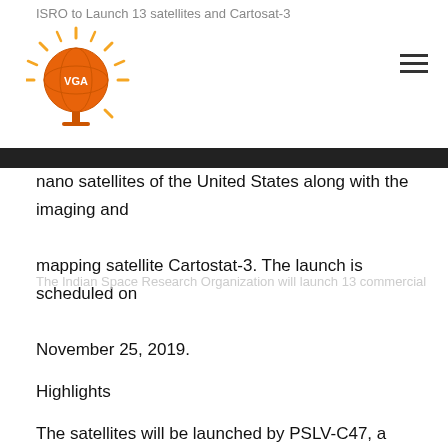ISRO to Launch 13 satellites and Cartosat-3
[Figure (logo): VGA logo - orange globe with sun rays]
The Indian Space Research Organization will launch 13 commercial nano satellites of the United States along with the imaging and mapping satellite Cartostat-3. The launch is scheduled on November 25, 2019.
Highlights
The satellites will be launched by PSLV-C47, a Polar Satellite Launch Vehicle into Sun Synchronous Orbit from Satish Dhawan Space Centre at Sriharikota.
CartoSAT-3